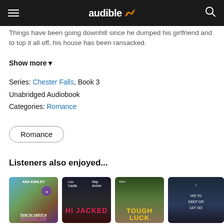audible
Things have been going downhill since he dumped his girlfriend and to top it all off, his house has been ransacked.
Show more
Series: Chester Falls, Book 3
Unabridged Audiobook
Categories: Romance
Romance
Listeners also enjoyed...
[Figure (photo): Book cover: How to Catch a Bachelor by Ana Ashley]
[Figure (photo): Book cover: Hi Jacked]
[Figure (photo): Book cover: Tough Luck]
[Figure (photo): Book cover: partially visible, dark blue]